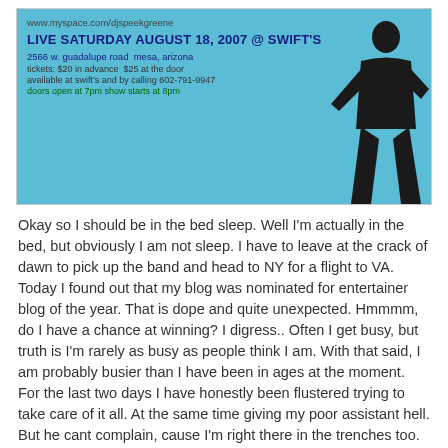[Figure (illustration): Event flyer for DJ Speek Greene live at Swift's on Saturday August 18 2007. Blue background with silhouette figure. Text includes website, date, venue, address, ticket prices, and show times.]
Okay so I should be in the bed sleep. Well I'm actually in the bed, but obviously I am not sleep. I have to leave at the crack of dawn to pick up the band and head to NY for a flight to VA. Today I found out that my blog was nominated for entertainer blog of the year. That is dope and quite unexpected. Hmmmm, do I have a chance at winning? I digress.. Often I get busy, but truth is I'm rarely as busy as people think I am. With that said, I am probably busier than I have been in ages at the moment. For the last two days I have honestly been flustered trying to take care of it all. At the same time giving my poor assistant hell. But he cant complain, cause I'm right there in the trenches too. New music, new shows, band rehearsal, musician replacement, artwork approvals, credit approvals, purchasing the flights for the UK tour we are doing in October. (damn that hurt the pockets) where was i? Interviews, traffic court (yeh at 730 this morning), conference calls, mixing sessions, and I have